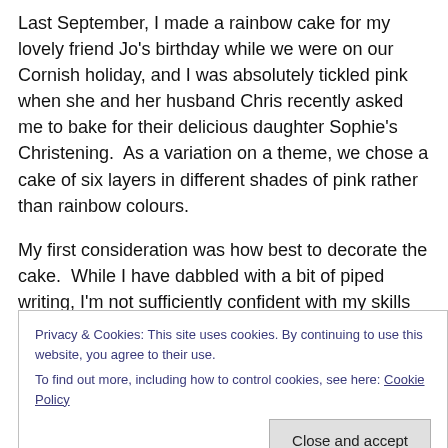Last September, I made a rainbow cake for my lovely friend Jo's birthday while we were on our Cornish holiday, and I was absolutely tickled pink when she and her husband Chris recently asked me to bake for their delicious daughter Sophie's Christening.  As a variation on a theme, we chose a cake of six layers in different shades of pink rather than rainbow colours.
My first consideration was how best to decorate the cake.  While I have dabbled with a bit of piped writing, I'm not sufficiently confident with my skills to risk piping Sophie's
Privacy & Cookies: This site uses cookies. By continuing to use this website, you agree to their use.
To find out more, including how to control cookies, see here: Cookie Policy
fondant and start fashioning some pretty things with it.